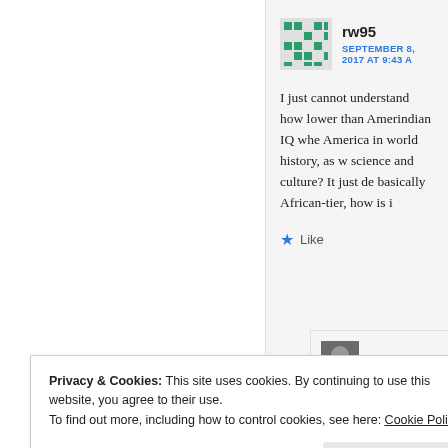rw95
SEPTEMBER 8, 2017 AT 9:43 A
I just cannot understand how lower than Amerindian IQ whe America in world history, as w science and culture? It just de basically African-tier, how is i
Like
Afrosapie
Privacy & Cookies: This site uses cookies. By continuing to use this website, you agree to their use.
To find out more, including how to control cookies, see here: Cookie Policy
Close and accept